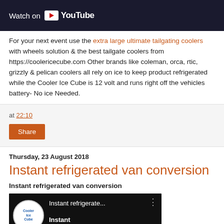[Figure (screenshot): YouTube video thumbnail with 'Watch on YouTube' badge on dark background with car wheel visible]
For your next event use the extra large ultimate tailgating coolers with wheels solution & the best tailgate coolers from https://coolericecube.com Other brands like coleman, orca, rtic, grizzly & pelican coolers all rely on ice to keep product refrigerated while the Cooler Ice Cube is 12 volt and runs right off the vehicles battery- No ice Needed.
at 22:10
Share
Thursday, 23 August 2018
Instant refrigerated van conversion
Instant refrigerated van conversion
[Figure (screenshot): YouTube video thumbnail for 'Instant refrigerate...' showing Cooler Ice Cube logo and refrigerated van]